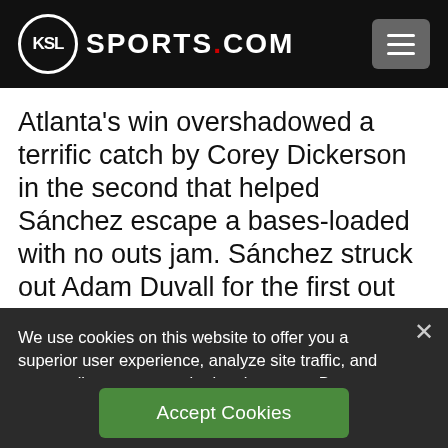KSL SPORTS.COM
Atlanta's win overshadowed a terrific catch by Corey Dickerson in the second that helped Sánchez escape a bases-loaded with no outs jam. Sánchez struck out Adam Duvall for the first out before Dickerson dived to catch a
We use cookies on this website to offer you a superior user experience, analyze site traffic, and personalize content and advertisements. By continuing to use our site, you consent to our use of cookies. Please visit our Privacy Policy for more information.
Accept Cookies